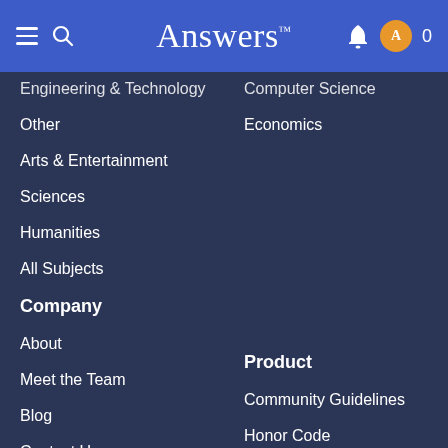Answers
Engineering & Technology
Computer Science
Other
Economics
Arts & Entertainment
Sciences
Humanities
All Subjects
Company
Product
About
Community Guidelines
Meet the Team
Honor Code
Blog
Flashcard Maker
Contact Us
Study Guides